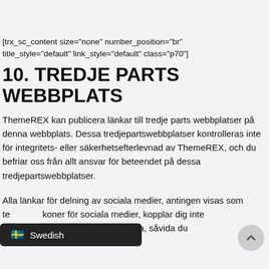[trx_sc_content size="none" number_position="br" title_style="default" link_style="default" class="p70"]
10. TREDJE PARTS WEBBPLATS
ThemeREX kan publicera länkar till tredje parts webbplatser på denna webbplats. Dessa tredjepartswebbplatser kontrolleras inte för integritets- eller säkerhetsefterlevnad av ThemeREX, och du befriar oss från allt ansvar för beteendet på dessa tredjepartswebbplatser.
Alla länkar för delning av sociala medier, antingen visas som te… koner för sociala medier, kopplar dig inte ti… ssocierade tredje parterna, såvida du